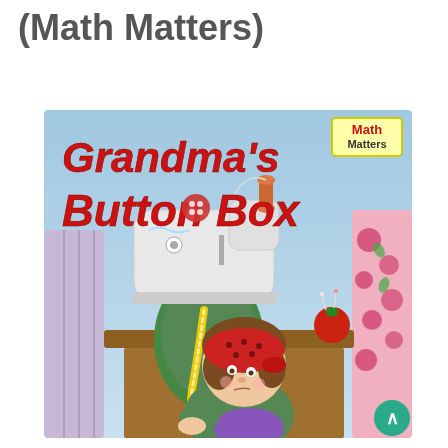(Math Matters)
[Figure (illustration): Book cover for 'Grandma's Button Box' from the Math Matters series. The cover shows a cartoon illustration of a young girl with brown hair wearing a red bandana, sitting in a green chair at a sewing desk with a white sewing machine. There are colorful fabrics on either side, a yellow measuring tape, and a red tomato pincushion. The title 'Grandma's Button Box' is displayed in large red bold italic letters. A 'Math Matters' badge appears in the upper right corner.]